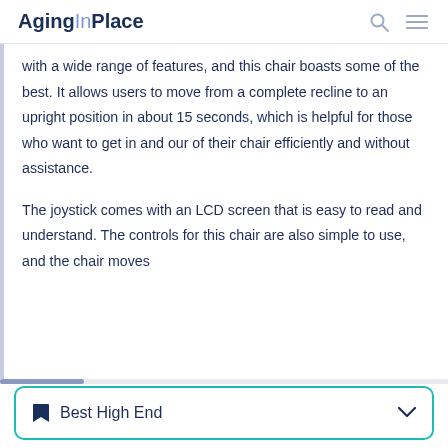AgingInPlace
with a wide range of features, and this chair boasts some of the best. It allows users to move from a complete recline to an upright position in about 15 seconds, which is helpful for those who want to get in and our of their chair efficiently and without assistance.
The joystick comes with an LCD screen that is easy to read and understand. The controls for this chair are also simple to use, and the chair moves
Best High End